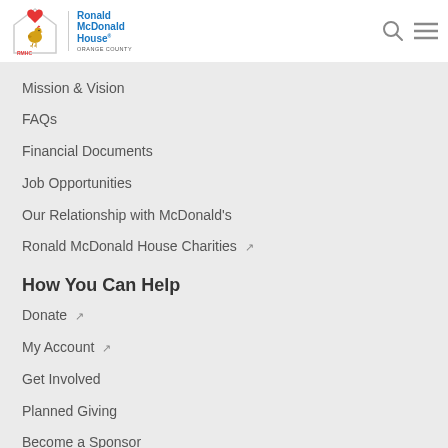[Figure (logo): Ronald McDonald House Charities RMHC Orange County logo with house icon and RMHC bird emblem]
Mission & Vision
FAQs
Financial Documents
Job Opportunities
Our Relationship with McDonald's
Ronald McDonald House Charities ↗
How You Can Help
Donate ↗
My Account ↗
Get Involved
Planned Giving
Become a Sponsor